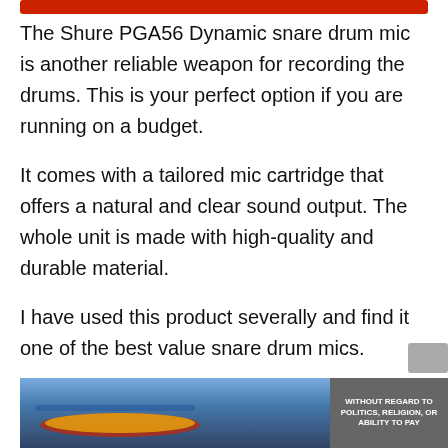[Figure (other): Red horizontal bar at the top of the page]
The Shure PGA56 Dynamic snare drum mic is another reliable weapon for recording the drums. This is your perfect option if you are running on a budget.
It comes with a tailored mic cartridge that offers a natural and clear sound output. The whole unit is made with high-quality and durable material.
I have used this product severally and find it one of the best value snare drum mics.
[Figure (photo): Advertisement banner showing an airplane being loaded with cargo, with text 'WITHOUT REGARD TO POLITICS, RELIGION, OR ABILITY TO PAY' on the right side]